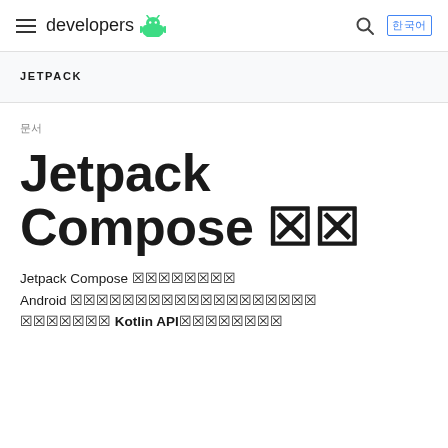developers (Android logo)
JETPACK
문서
Jetpack Compose 가이드
Jetpack Compose는 네이티브 Android UI를 빌드하기 위한 최신 도구 키트입니다. 더 적은 코드, 강력한 Kotlin API로 Android 개발을 간소화하고 가속화합니다.